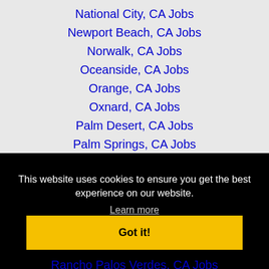National City, CA Jobs
Newport Beach, CA Jobs
Norwalk, CA Jobs
Oceanside, CA Jobs
Orange, CA Jobs
Oxnard, CA Jobs
Palm Desert, CA Jobs
Palm Springs, CA Jobs
Palmdale, CA Jobs
This website uses cookies to ensure you get the best experience on our website. Learn more Got it!
Rancho Palos Verdes, CA Jobs